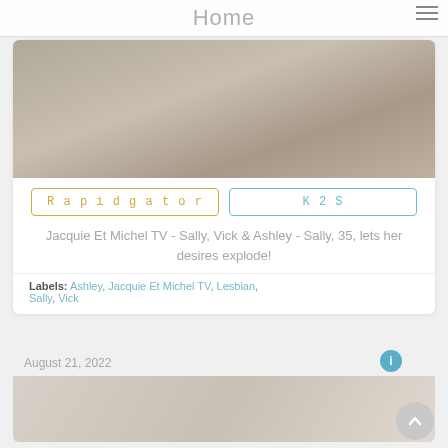Home
[Figure (photo): Photo of people outdoors, cropped view of legs and lower bodies on colorful fabric]
Rapidgator
K2S
Jacquie Et Michel TV - Sally, Vick & Ashley - Sally, 35, lets her desires explode!
Labels: Ashley, Jacquie Et Michel TV, Lesbian, Sally, Vick
August 21, 2022
[Figure (photo): Partial photo, bottom portion of second content card, cropped]